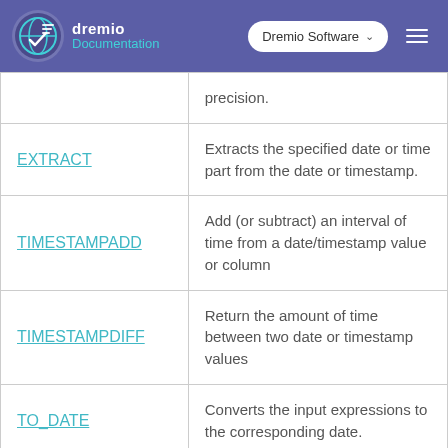dremio Documentation | Dremio Software
| Function | Description |
| --- | --- |
|  | precision. |
| EXTRACT | Extracts the specified date or time part from the date or timestamp. |
| TIMESTAMPADD | Add (or subtract) an interval of time from a date/timestamp value or column |
| TIMESTAMPDIFF | Return the amount of time between two date or timestamp values |
| TO_DATE | Converts the input expressions to the corresponding date. |